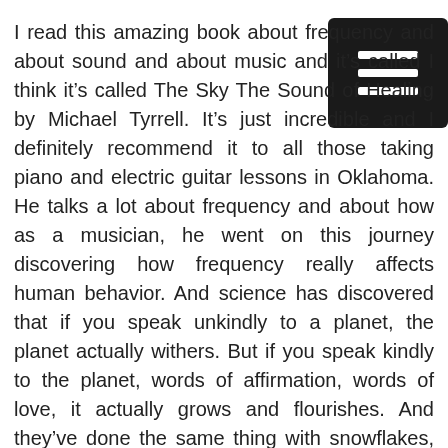I read this amazing book about frequency and about sound and about music and it’s called I think it’s called The Sky The Sound of Healing by Michael Tyrrell. It’s just incredible and I definitely recommend it to all those taking piano and electric guitar lessons in Oklahoma. He talks a lot about frequency and about how as a musician, he went on this journey discovering how frequency really affects human behavior. And science has discovered that if you speak unkindly to a planet, the planet actually withers. But if you speak kindly to the planet, words of affirmation, words of love, it actually grows and flourishes. And they’ve done the same thing with snowflakes, same results. They’ve done the same things with other things in nature as well. So the power of words is so crucial, especially if you are taking piano or electric guitar lessons in Oklahoma.

And so I’ll just be speaking life words all the time